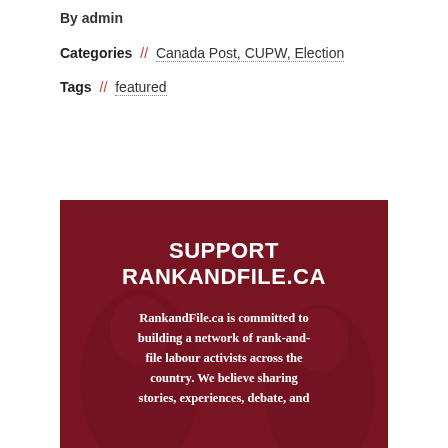By admin
Categories // Canada Post, CUPW, Election
Tags // featured
[Figure (illustration): Dark red/maroon banner advertisement for RankandFile.ca showing people in the background with overlaid white text reading 'SUPPORT RANKANDFILE.CA' and a paragraph about building a network of rank-and-file labour activists.]